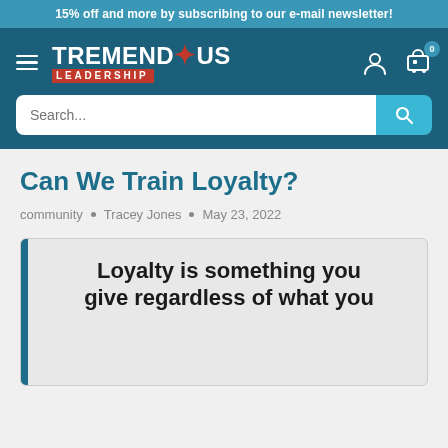15% off and more by subscribing to our e-mail newsletter!
[Figure (logo): Tremendous Leadership logo with hamburger menu, user icon and cart icon showing 0 items, and search bar]
Can We Train Loyalty?
community • Tracey Jones • May 23, 2022
[Figure (illustration): Quote box with teal left border and text: Loyalty is something you give regardless of what you]